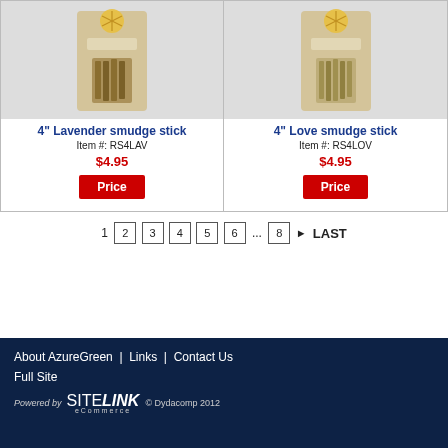[Figure (photo): Product photo of 4 inch Lavender smudge stick in packaging]
[Figure (photo): Product photo of 4 inch Love smudge stick in packaging]
4" Lavender smudge stick
Item #: RS4LAV
$4.95
Price
4" Love smudge stick
Item #: RS4LOV
$4.95
Price
1  2  3  4  5  6  ...  8  ▶  LAST
About AzureGreen | Links | Contact Us
Full Site
Powered by SITELINK eCommerce © Dydacomp 2012